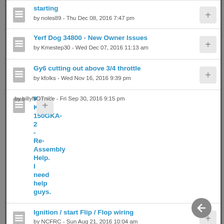starting - by noles89 - Thu Dec 08, 2016 7:47 pm
Yerf Dog 34800 - New Owner Issues - by Kmestep30 - Wed Dec 07, 2016 11:13 am
Gy6 cutting out above 3/4 throttle - by kfolks - Wed Nov 16, 2016 9:39 pm
Kandi KD-150GKA-2 - Re-Assembly Help. I need help guys. - by billyNOTnice - Fri Sep 30, 2016 9:15 pm
Ignition / start Flip / Flop wiring - by NCFRC - Sun Aug 21, 2016 10:04 am
Yerf Dog Won't Turn Over - by timmoss - Sun Sep 04, 2016 1:36 pm
Oil capacity - by bcrane112 - Tue Sep 06, 2016 11:52 pm
crossfire 150 caliper